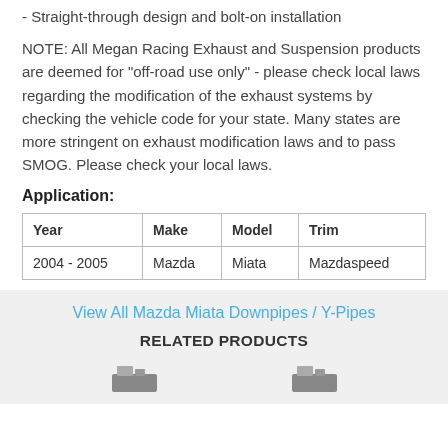- Straight-through design and bolt-on installation
NOTE: All Megan Racing Exhaust and Suspension products are deemed for "off-road use only" - please check local laws regarding the modification of the exhaust systems by checking the vehicle code for your state. Many states are more stringent on exhaust modification laws and to pass SMOG. Please check your local laws.
Application:
| Year | Make | Model | Trim |
| --- | --- | --- | --- |
| 2004 - 2005 | Mazda | Miata | Mazdaspeed |
View All Mazda Miata Downpipes / Y-Pipes
RELATED PRODUCTS
[Figure (photo): Bottom partial product images]